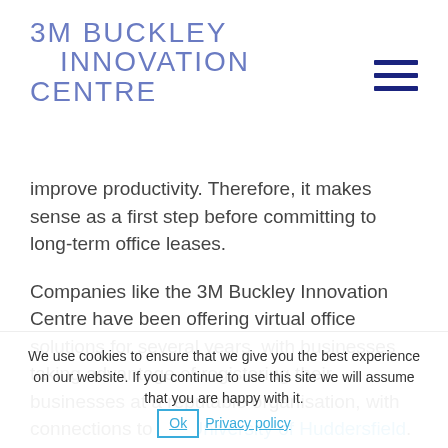3M BUCKLEY INNOVATION CENTRE
improve productivity. Therefore, it makes sense as a first step before committing to long-term office leases.
Companies like the 3M Buckley Innovation Centre have been offering virtual office solutions for several years, with businesses taking advantage of registering their businesses at a reputable organisation, with connections to the University of Huddersfield.
Lucy Gardner from Packaging Elements explains how this
"Innovation and development are fundamental to Packaging Elements Limited so a link with 3MIC has always been
We use cookies to ensure that we give you the best experience on our website. If you continue to use this site we will assume that you are happy with it.